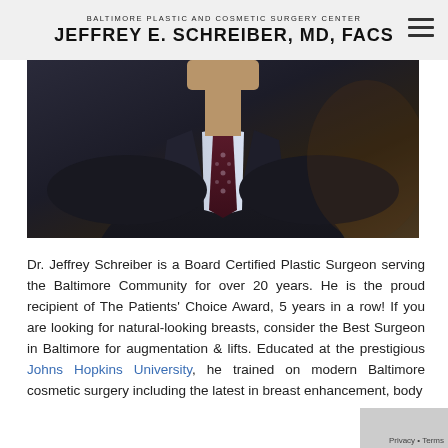BALTIMORE PLASTIC AND COSMETIC SURGERY CENTER
JEFFREY E. SCHREIBER, MD, FACS
[Figure (photo): Photo of Dr. Jeffrey Schreiber from chest up, wearing dark suit and burgundy patterned tie, against a dark background]
Dr. Jeffrey Schreiber is a Board Certified Plastic Surgeon serving the Baltimore Community for over 20 years. He is the proud recipient of The Patients' Choice Award, 5 years in a row! If you are looking for natural-looking breasts, consider the Best Surgeon in Baltimore for augmentation & lifts. Educated at the prestigious Johns Hopkins University, he trained on modern Baltimore cosmetic surgery including the latest in breast enhancement, body